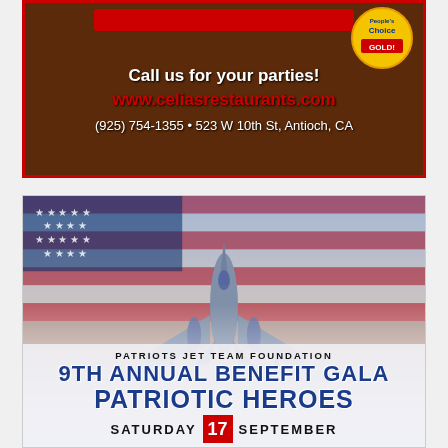[Figure (illustration): Restaurant advertisement for Celia's with dark brown background. Features a 'People's Choice Gold' badge in top right. Text includes 'Call us for your parties!', website www.celiasrestaurants.com, phone (925) 754-1355, and address 523 W 10th St, Antioch, CA. Red border around ad.]
[Figure (illustration): Patriots Jet Team Foundation advertisement with American flag and F-16 fighter jet image. Text reads: 'PATRIOTS JET TEAM FOUNDATION', '9th ANNUAL BENEFIT GALA', 'PATRIOTIC HEROES', 'SATURDAY 17 SEPTEMBER'. The 17 appears in a red box.]